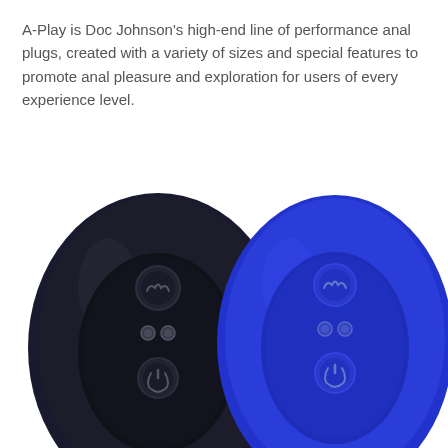A-Play is Doc Johnson's high-end line of performance anal plugs, created with a variety of sizes and special features to promote anal pleasure and exploration for users of every experience level.
[Figure (photo): Two oval-shaped anal plugs shown from the base/bottom view. Left plug is matte black with an inner oval indentation, a circular patterned button on top, two metallic charging contacts in the middle, and a power button below. Right plug is the same design in vibrant blue. Both have identical button and contact layouts visible on their flat bases.]